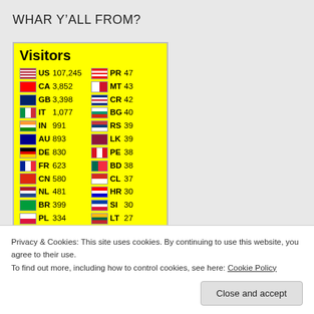WHAR Y’ALL FROM?
| Flag | CC | Count | Flag | CC | Count |
| --- | --- | --- | --- | --- | --- |
| US | 107,245 | PR | 47 |
| CA | 3,852 | MT | 43 |
| GB | 3,398 | CR | 42 |
| IT | 1,077 | BG | 40 |
| IN | 991 | RS | 39 |
| AU | 893 | LK | 39 |
| DE | 830 | PE | 38 |
| FR | 623 | BD | 38 |
| CN | 580 | CL | 37 |
| NL | 481 | HR | 30 |
| BR | 399 | SI | 30 |
| PL | 334 | LT | 27 |
| JP | 327 | VE | 27 |
| ES | 303 | JM | 25 |
| BE | 270 | KW | 24 |
| RU | 259 | LV | 24 |
Privacy & Cookies: This site uses cookies. By continuing to use this website, you agree to their use.
To find out more, including how to control cookies, see here: Cookie Policy
Close and accept